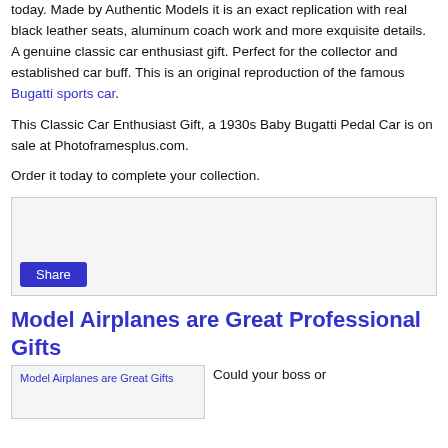today. Made by Authentic Models it is an exact replication with real black leather seats, aluminum coach work and more exquisite details. A genuine classic car enthusiast gift. Perfect for the collector and established car buff. This is an original reproduction of the famous Bugatti sports car.
This Classic Car Enthusiast Gift, a 1930s Baby Bugatti Pedal Car is on sale at Photoframesplus.com.
Order it today to complete your collection.
[Figure (other): Share box with a Share button, light gray background with border]
Model Airplanes are Great Professional Gifts
[Figure (other): Bottom left box with small blue link text]
Could your boss or